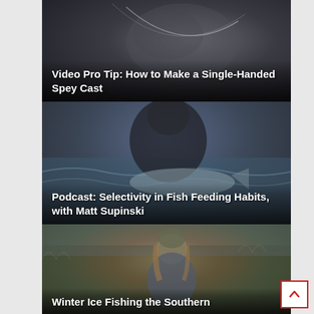[Figure (photo): Dark misty background photo, likely a fishing scene with water/sky, with white text overlay reading 'Video Pro Tip: How to Make a Single-Handed Spey Cast']
Video Pro Tip: How to Make a Single-Handed Spey Cast
[Figure (photo): Man in dark jacket holding a large fish near water, with white text overlay reading 'Podcast: Selectivity in Fish Feeding Habits, with Matt Supinski']
Podcast: Selectivity in Fish Feeding Habits, with Matt Supinski
[Figure (photo): Woman in olive beanie hat and blue jacket outdoors in winter, with white text overlay reading 'Winter Ice Fishing the Southern']
Winter Ice Fishing the Southern